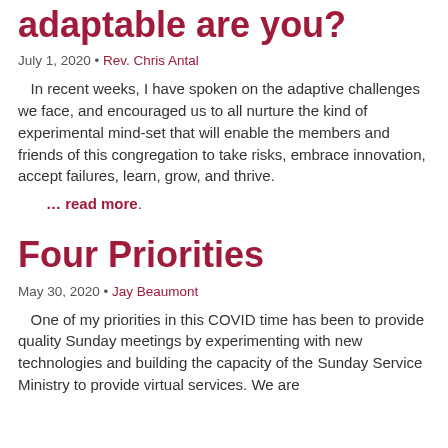adaptable are you?
July 1, 2020 • Rev. Chris Antal
In recent weeks, I have spoken on the adaptive challenges we face, and encouraged us to all nurture the kind of experimental mind-set that will enable the members and friends of this congregation to take risks, embrace innovation, accept failures, learn, grow, and thrive.
… read more.
Four Priorities
May 30, 2020 • Jay Beaumont
One of my priorities in this COVID time has been to provide quality Sunday meetings by experimenting with new technologies and building the capacity of the Sunday Service Ministry to provide virtual services. We are